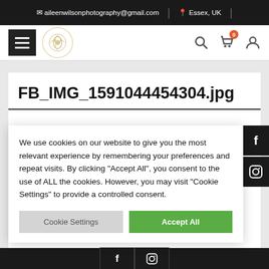✉ aileenwilsonphotography@gmail.com  |  📍 Essex, UK  |
[Figure (screenshot): Website navigation bar with hamburger menu icon, circular rose logo, search icon, shopping bag icon with badge showing 0, and user profile icon]
FB_IMG_1591044454304.jpg
We use cookies on our website to give you the most relevant experience by remembering your preferences and repeat visits. By clicking "Accept All", you consent to the use of ALL the cookies. However, you may visit "Cookie Settings" to provide a controlled consent.
Cookie Settings    Accept All
f  📷